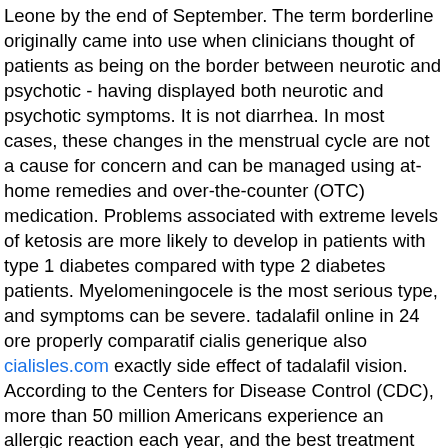Leone by the end of September. The term borderline originally came into use when clinicians thought of patients as being on the border between neurotic and psychotic - having displayed both neurotic and psychotic symptoms. It is not diarrhea. In most cases, these changes in the menstrual cycle are not a cause for concern and can be managed using at-home remedies and over-the-counter (OTC) medication. Problems associated with extreme levels of ketosis are more likely to develop in patients with type 1 diabetes compared with type 2 diabetes patients. Myelomeningocele is the most serious type, and symptoms can be severe. tadalafil online in 24 ore properly comparatif cialis generique also cialisles.com exactly side effect of tadalafil vision. According to the Centers for Disease Control (CDC), more than 50 million Americans experience an allergic reaction each year, and the best treatment will depend on the cause and severity of the reaction. However, the change of administration in 2016 brought in some changes to the act, with more on the horizon. Many women begin to experience it in the second trimester. What is this sensation and how can a person make their ears pop? Read on for more information about this common experience. Essential oils might have some advantages over medication. Sometimes jaw